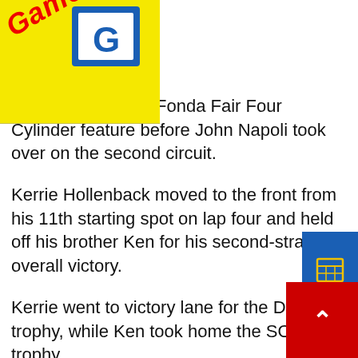[Figure (logo): Games! logo with red italic text on yellow triangle background with a blue G icon]
opening lap of the Fonda Fair Four Cylinder feature before John Napoli took over on the second circuit.
Kerrie Hollenback moved to the front from his 11th starting spot on lap four and held off his brother Ken for his second-straight overall victory.
Kerrie went to victory lane for the DOHC trophy, while Ken took home the SOHC trophy.
Next Saturday, on Memorial Day Weekend the Fonda Speedway will be back in action with the big block modifieds running for $4,000-to-win in the first of the FX Caprara Thunder on the Thruway Series, while the Crate 602 Sportsman division will battle for $1,500